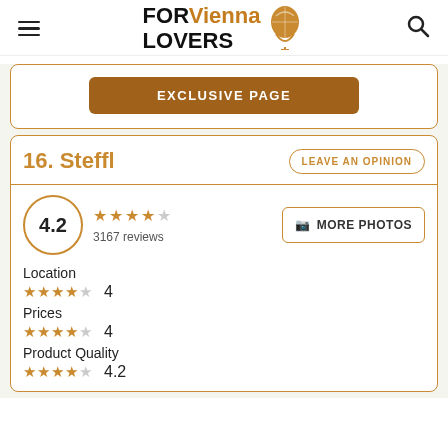FOR Vienna LOVERS
EXCLUSIVE PAGE
16. Steffl
LEAVE AN OPINION
4.2 · 3167 reviews
MORE PHOTOS
Location 4
Prices 4
Product Quality 4.2